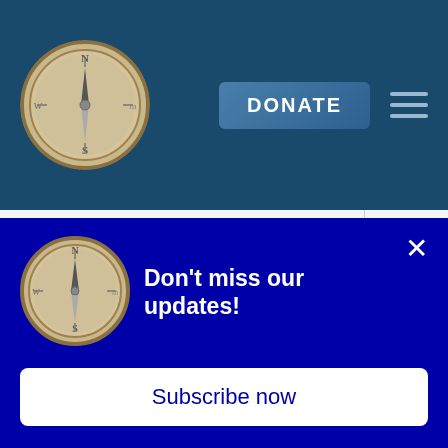[Figure (logo): Compass rose logo in header navigation bar with dark blue background, DONATE button, and hamburger menu icon]
|  |  |
| --- | --- |
| Filer Must Submit Disclosures Electronically | 5% |
| Electronically Searchable Disclosure Form Available | 5% |
| TOTAL | 100% |
Don't miss our updates!
Subscribe now